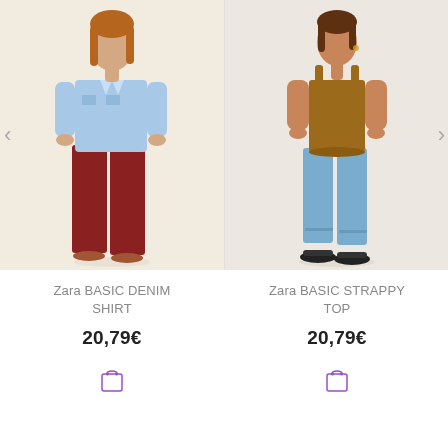[Figure (photo): Woman wearing a light blue denim shirt and dark red wide-leg trousers with brown sandals against a beige background]
Zara BASIC DENIM SHIRT
20,79€
[Figure (illustration): Shopping bag cart icon in purple outline]
[Figure (photo): Woman wearing a caramel/brown strappy tank top and light blue cropped jeans with black slides against a beige background]
Zara BASIC STRAPPY TOP
20,79€
[Figure (illustration): Shopping bag cart icon in purple outline]